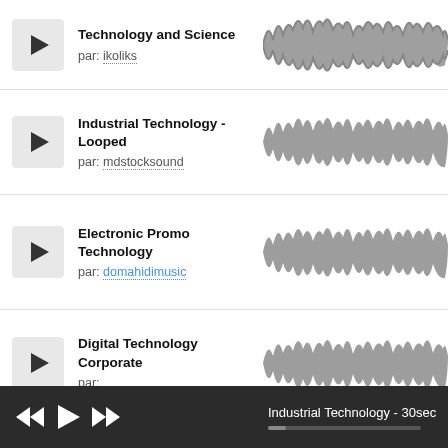Technology and Science
par: ikoliks
[Figure (other): Audio waveform for Technology and Science track]
Industrial Technology - Looped
par: mdstocksound
[Figure (other): Audio waveform for Industrial Technology - Looped track]
Electronic Promo Technology
par: domahidimusic
[Figure (other): Audio waveform for Electronic Promo Technology track]
Digital Technology Corporate
par:
[Figure (other): Audio waveform for Digital Technology Corporate track]
Industrial Technology - 30sec